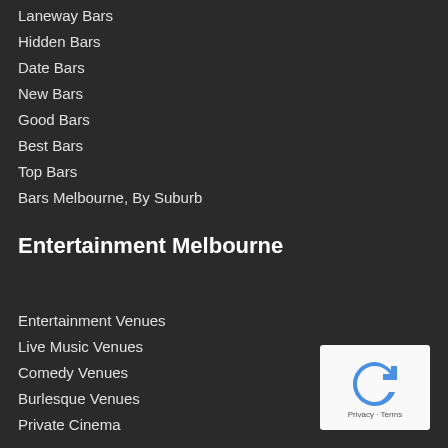Laneway Bars
Hidden Bars
Date Bars
New Bars
Good Bars
Best Bars
Top Bars
Bars Melbourne, By Suburb
Entertainment Melbourne
Entertainment Venues
Live Music Venues
Comedy Venues
Burlesque Venues
Private Cinema
[Figure (other): reCAPTCHA widget showing refresh icon with Privacy and Terms links]